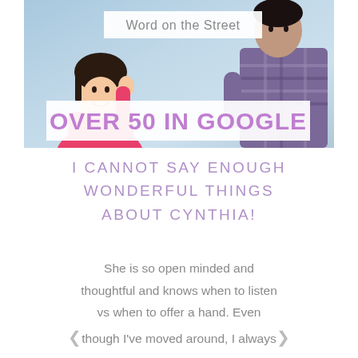[Figure (photo): Photo banner with two young people on a light blue background. Left person: young woman in pink top smiling, right person: young man in plaid shirt. Banner overlays include 'Word on the Street' and 'OVER 50 IN GOOGLE' text labels.]
I CANNOT SAY ENOUGH WONDERFUL THINGS ABOUT CYNTHIA!
She is so open minded and thoughtful and knows when to listen vs when to offer a hand. Even though I've moved around, I always find my way back to her—for many years she's been the person I